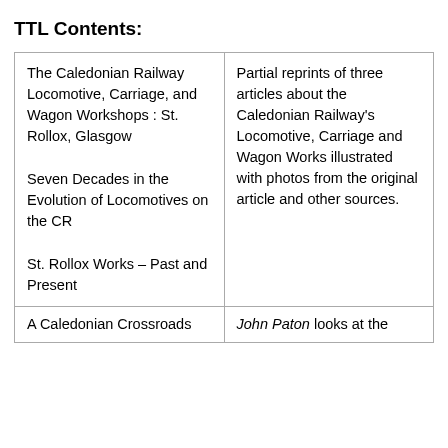TTL Contents:
| The Caledonian Railway Locomotive, Carriage, and Wagon Workshops : St. Rollox, Glasgow

Seven Decades in the Evolution of Locomotives on the CR

St. Rollox Works – Past and Present | Partial reprints of three articles about the Caledonian Railway's Locomotive, Carriage and Wagon Works illustrated with photos from the original article and other sources. |
| A Caledonian Crossroads | John Paton looks at the |